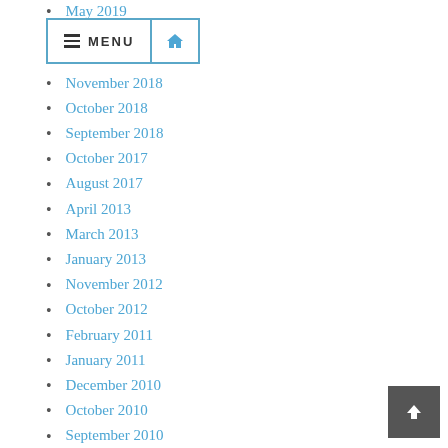May 2019
November 2018
October 2018
September 2018
October 2017
August 2017
April 2013
March 2013
January 2013
November 2012
October 2012
February 2011
January 2011
December 2010
October 2010
September 2010
December 2009
October 2009
September 2009